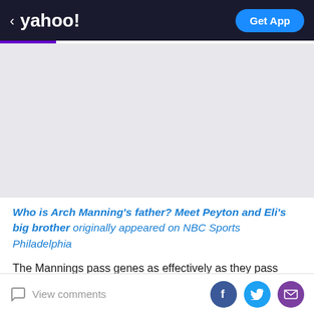< yahoo!  Get App
[Figure (other): Gray advertisement placeholder area]
Who is Arch Manning's father? Meet Peyton and Eli's big brother originally appeared on NBC Sports Philadelphia
The Mannings pass genes as effectively as they pass footballs.
The family's quarterbacking legacy is set to continue with
View comments  [Facebook] [Twitter] [Mail]